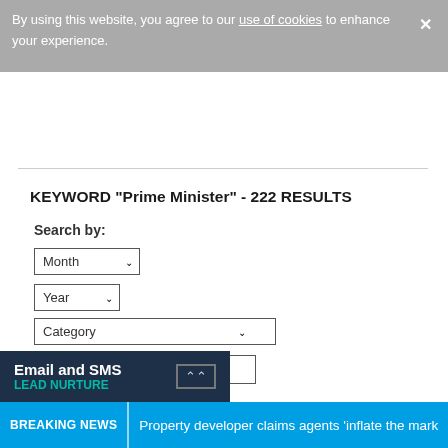By using this website, you agree to our use of cookies to enhance your experience.
KEYWORD "Prime Minister" - 222 RESULTS
Search by:
Month
Year
Category
Prime Minister
SEARCH
Email and SMS LEAD NURTURE
BREAKING NEWS Property developer claims agents 'inflate the mark'